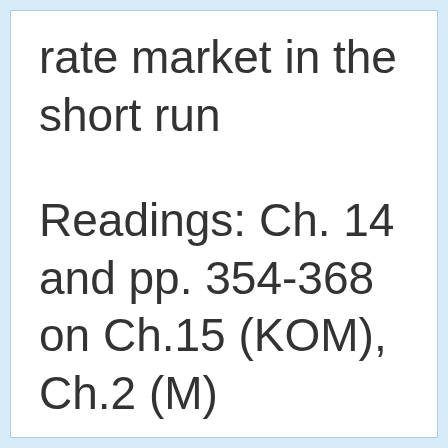rate market in the short run
Readings: Ch. 14 and pp. 354-368 on Ch.15 (KOM), Ch.2 (M)